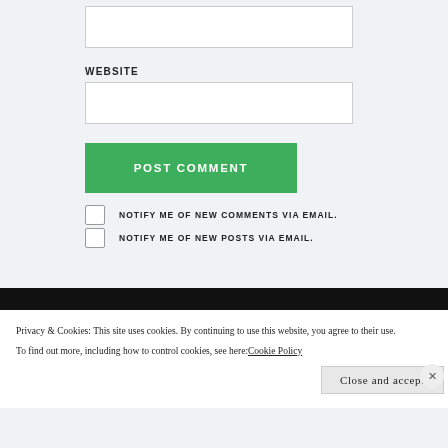(input box — top, empty)
WEBSITE
(website input box — empty)
POST COMMENT
NOTIFY ME OF NEW COMMENTS VIA EMAIL.
NOTIFY ME OF NEW POSTS VIA EMAIL.
Privacy & Cookies: This site uses cookies. By continuing to use this website, you agree to their use.
To find out more, including how to control cookies, see here: Cookie Policy
Close and accept